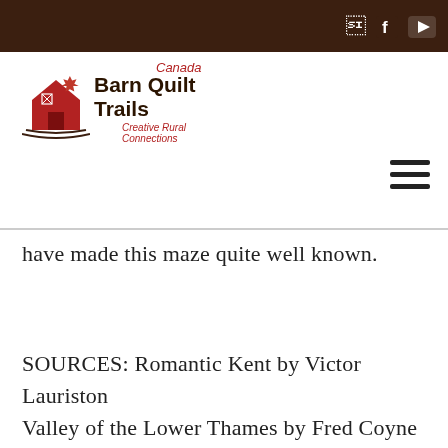Canada Barn Quilt Trails - Creative Rural Connections
[Figure (logo): Canada Barn Quilt Trails logo with red barn, maple leaf, and tagline 'Creative Rural Connections']
have made this maze quite well known.
SOURCES: Romantic Kent by Victor Lauriston
Valley of the Lower Thames by Fred Coyne Hamil